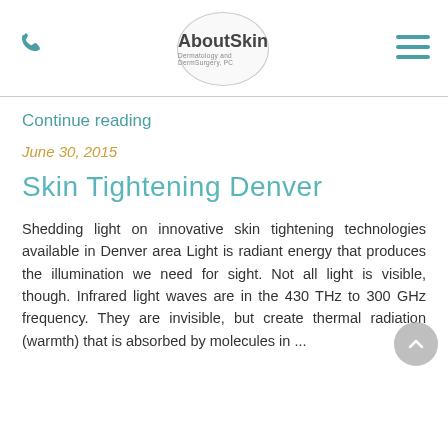[Figure (logo): AboutSkin Dermatology and DermSurgery, PC logo with phone icon and hamburger menu]
Continue reading
June 30, 2015
Skin Tightening Denver
Shedding light on innovative skin tightening technologies available in Denver area Light is radiant energy that produces the illumination we need for sight. Not all light is visible, though. Infrared light waves are in the 430 THz to 300 GHz frequency. They are invisible, but create thermal radiation (warmth) that is absorbed by molecules in ...